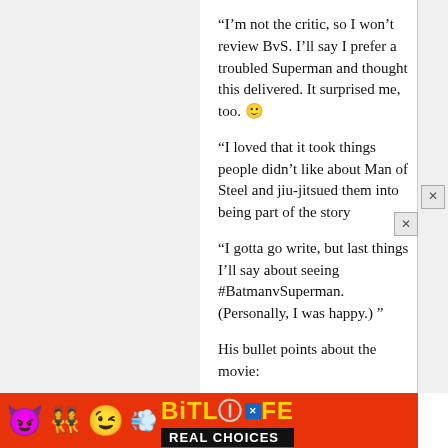“I’m not the critic, so I won’t review BvS. I’ll say I prefer a troubled Superman and thought this delivered. It surprised me, too. 😊
“I loved that it took things people didn’t like about Man of Steel and jiu-jitsued them into being part of the story
“I gotta go write, but last things I’ll say about seeing #BatmanvSuperman. (Personally, I was happy.) ”
His bullet points about the movie:
“1. If you loved Man of Steel, you’ll love BvS.
2. If you loved Man of Steel, but not the end — BvS may redeem that.
[Figure (infographic): BitLife advertisement banner with emojis (devil, angel girl, winking emoji) on red background, gold BitLife logo, question mark and X badges, and REAL CHOICES tagline on black strip]